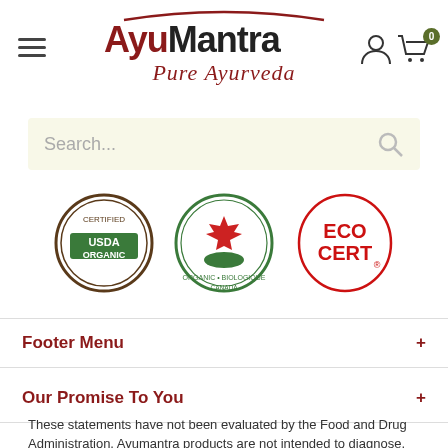[Figure (logo): AyuMantra Pure Ayurveda logo with hamburger menu and cart/user icons]
[Figure (screenshot): Search bar with placeholder text 'Search...' and magnifying glass icon]
[Figure (logo): Three certification logos: USDA Organic, Canada Organic Biologique, and EcoCert]
Footer Menu
Our Promise To You
These statements have not been evaluated by the Food and Drug Administration. Ayumantra products are not intended to diagnose,